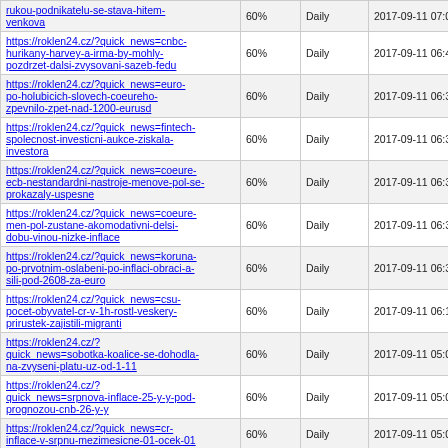| URL | 60% | Daily | Date |
| --- | --- | --- | --- |
| https://roklen24.cz/?quick_news=rukou-podnikatelu-se-stava-hitem-venkova | 60% | Daily | 2017-09-11 07:03 |
| https://roklen24.cz/?quick_news=cnbc-hurikany-harvey-a-irma-by-mohly-pozdrzet-dalsi-zvysovani-sazeb-fedu | 60% | Daily | 2017-09-11 06:47 |
| https://roklen24.cz/?quick_news=euro-po-holubicich-slovech-coeureho-zpevnilo-zpet-nad-1200-eurusd | 60% | Daily | 2017-09-11 06:39 |
| https://roklen24.cz/?quick_news=fintech-spolecnost-investicni-aukce-ziskala-investora | 60% | Daily | 2017-09-11 06:39 |
| https://roklen24.cz/?quick_news=coeure-ecb-nestandardni-nastroje-menove-pol-se-prokazaly-uspesne | 60% | Daily | 2017-09-11 06:38 |
| https://roklen24.cz/?quick_news=coeure-men-pol-zustane-akomodativni-delsi-dobu-vinou-nizke-inflace | 60% | Daily | 2017-09-11 06:38 |
| https://roklen24.cz/?quick_news=koruna-po-prvotnim-oslabeni-po-inflaci-obraci-a-sili-pod-2608-za-euro | 60% | Daily | 2017-09-11 06:31 |
| https://roklen24.cz/?quick_news=csu-pocet-obyvatel-cr-v-1h-rostl-veskery-prirustek-zajistili-migranti | 60% | Daily | 2017-09-11 06:19 |
| https://roklen24.cz/?quick_news=sobotka-koalice-se-dohodla-na-zvyseni-platu-uz-od-1-11 | 60% | Daily | 2017-09-11 05:07 |
| https://roklen24.cz/?quick_news=srpnova-inflace-25-y-y-pod-prognozou-cnb-26-y-y | 60% | Daily | 2017-09-11 05:02 |
| https://roklen24.cz/?quick_news=cr-inflace-v-srpnu-mezimesicne-01-ocek-01 | 60% | Daily | 2017-09-11 05:01 |
| https://roklen24.cz/?quick_news=cr-inflace-v-srpnu-25-y-y-dle-ocek-ekonomickeho-tymu-roklen | 60% | Daily | 2017-09-11 05:00 |